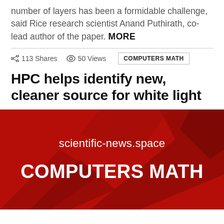number of layers has been a formidable challenge, said Rice research scientist Anand Puthirath, co-lead author of the paper. MORE
113 Shares   50 Views   COMPUTERS MATH
HPC helps identify new, cleaner source for white light
[Figure (infographic): Red banner with dark red angular swoosh shapes. Text reads 'scientific-news.space' and 'COMPUTERS MATH' in white on red background.]